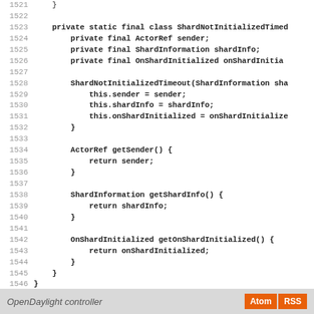[Figure (screenshot): Source code viewer showing Java code lines 1521-1549 for a private static final class ShardNotInitializedTimeout with fields sender, shardInfo, onShardInitialized, a constructor, and getter methods.]
OpenDaylight controller  Atom  RSS